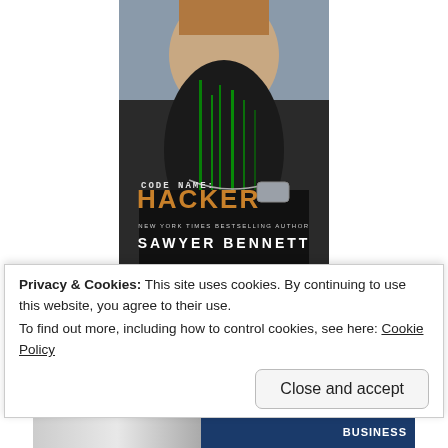[Figure (illustration): Book cover for 'Code Name: Hacker' by Sawyer Bennett. Shows a bearded man with green digital code running through his beard, wearing a military dog tag. Text reads CODE NAME: HACKER and NEW YORK TIMES BESTSELLING AUTHOR SAWYER BENNETT.]
Advertisements
[Figure (photo): Partially visible advertisement banner image at the top.]
Privacy & Cookies: This site uses cookies. By continuing to use this website, you agree to their use.
To find out more, including how to control cookies, see here: Cookie Policy
Close and accept
[Figure (photo): Partially visible bottom advertisement banner showing a hand and text 'BUSINESS'.]